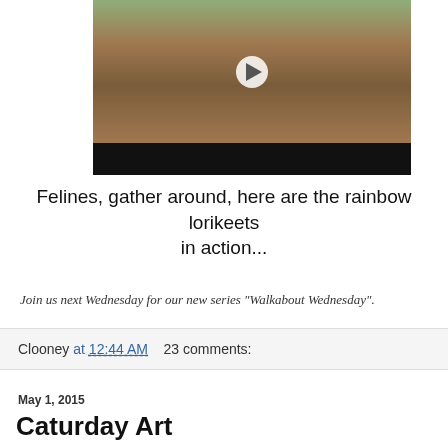[Figure (screenshot): Video thumbnail showing two people standing on a brick path surrounded by green plants, with a play button overlay and a black control bar at the bottom.]
Felines, gather around, here are the rainbow lorikeets in action...
Join us next Wednesday for our new series "Walkabout Wednesday".
Clooney at 12:44 AM    23 comments:
May 1, 2015
Caturday Art